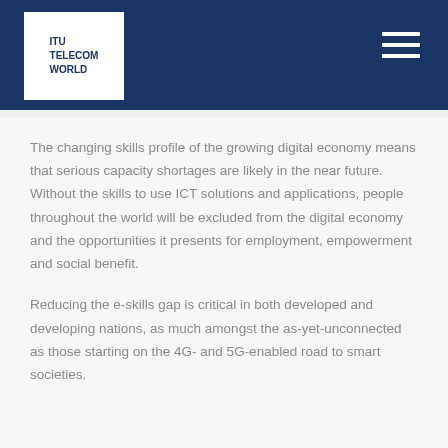ITU TELECOM WORLD
The changing skills profile of the growing digital economy means that serious capacity shortages are likely in the near future. Without the skills to use ICT solutions and applications, people throughout the world will be excluded from the digital economy and the opportunities it presents for employment, empowerment and social benefit.
Reducing the e-skills gap is critical in both developed and developing nations, as much amongst the as-yet-unconnected as those starting on the 4G- and 5G-enabled road to smart societies.